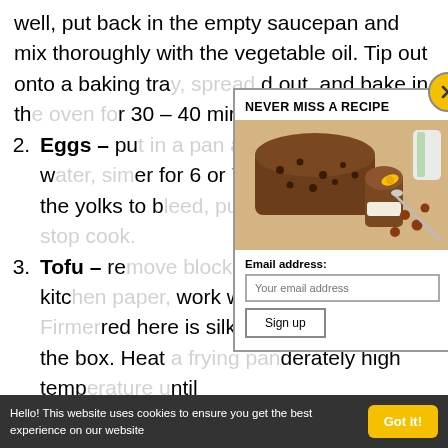well, put back in the empty saucepan and mix thoroughly with the vegetable oil. Tip out onto a baking tray, spread out, and bake in the oven for 30 – 40 minutes until
Eggs – put in a pan and cover with cold water, simmer for 6 or 7 minutes, to prevent the yolks to bleed, immerse in cold water, to stop cooking.
Tofu – remove if necessary, dry on kitchen paper, easier to work with than silky tofu. The tofu used here is silky tofu used straight out of the box. Heat in a pan at a moderately high temperature until
[Figure (photo): Photo of a sliced fruit/nut loaf cake with raisins, a flower garnish, and a cup in background, displayed as part of a newsletter signup modal]
NEVER MISS A RECIPE
Email address:
Your email address
Sign up
Hello! This website uses cookies to ensure you get the best experience on our website
Got it!